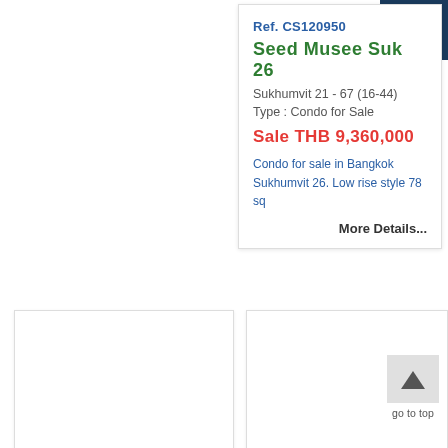Ref. CS120950
Seed Musee Suk 26
Sukhumvit 21 - 67 (16-44)
Type : Condo for Sale
Sale THB 9,360,000
Condo for sale in Bangkok Sukhumvit 26. Low rise style 78 sq
More Details...
[Figure (other): Bottom left empty listing card placeholder]
[Figure (other): Bottom right empty listing card placeholder with go to top button]